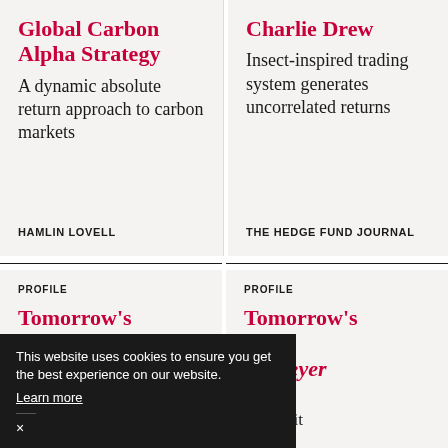Global Carbon Alpha Strategy
A dynamic absolute return approach to carbon markets
HAMLIN LOVELL
Charlie Drew
Insect-inspired trading system generates uncorrelated returns
THE HEDGE FUND JOURNAL
PROFILE
Tomorrow's
PROFILE
Tomorrow's 2022: as Meyer
riven an credit
Volatility alpha
alpha
This website uses cookies to ensure you get the best experience on our website.
Learn more
×